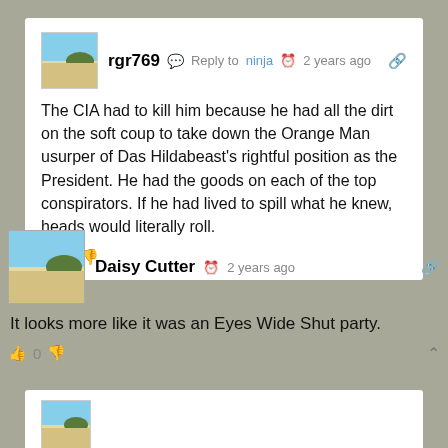rgr769  Reply to  ninja  2 years ago
The CIA had to kill him because he had all the dirt on the soft coup to take down the Orange Man usurper of Das Hildabeast's rightful position as the President. He had the goods on each of the top conspirators. If he had lived to spill what he knew, heads would literally roll.
0
Daisy Cutter  2 years ago
It looks more like it was an Eyes Wide Shut party.
0